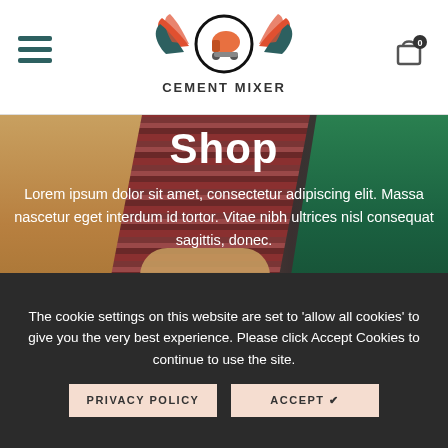[Figure (logo): Cement Mixer logo with winged cement mixer icon in orange and teal, with text CEMENT MIXER below]
[Figure (photo): Hero banner showing three people in discussion, with partial 'Shop' heading and lorem ipsum overlay text]
Lorem ipsum dolor sit amet, consectetur adipiscing elit. Massa nascetur eget interdum id tortor. Vitae nibh ultrices nisl consequat sagittis, donec.
The cookie settings on this website are set to 'allow all cookies' to give you the very best experience. Please click Accept Cookies to continue to use the site.
PRIVACY POLICY
ACCEPT ✔